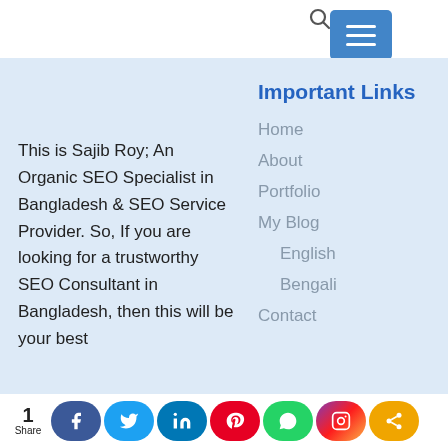[Figure (screenshot): Search icon and blue hamburger menu button in top bar]
Important Links
Home
About
Portfolio
My Blog
English
Bengali
Contact
This is Sajib Roy; An Organic SEO Specialist in Bangladesh & SEO Service Provider. So, If you are looking for a trustworthy SEO Consultant in Bangladesh, then this will be your best
[Figure (infographic): Social share bar with counts: 1 Share, Facebook, Twitter, LinkedIn, Pinterest, WhatsApp, Instagram, Share buttons]